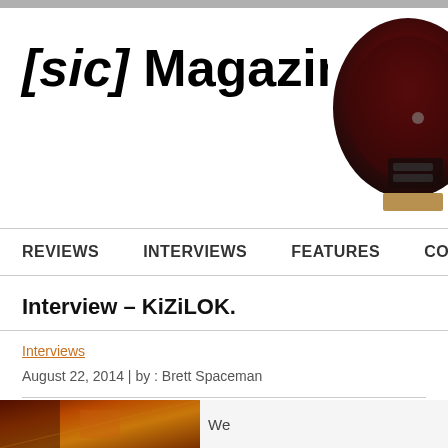[sic] Magazine
REVIEWS    INTERVIEWS    FEATURES    CON...
Interview – KiZiLOK.
Interviews
August 22, 2014 | by : Brett Spaceman
[Figure (photo): Partial photo of a retro-styled object (appears to be a vintage helmet or audio device, dark red/black), cropped at right edge of header]
[Figure (photo): Bottom strip partial photo showing warm orange/brown tones, partial text 'We' visible on right]